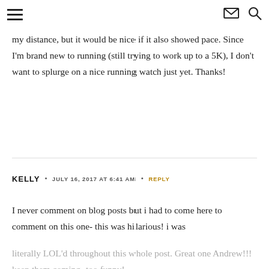≡  ✉ 🔍
my distance, but it would be nice if it also showed pace. Since I'm brand new to running (still trying to work up to a 5K), I don't want to splurge on a nice running watch just yet. Thanks!
KELLY • JULY 16, 2017 AT 6:41 AM • REPLY
I never comment on blog posts but i had to come here to comment on this one- this was hilarious! i was
literally LOL'd throughout this whole post. Great one Andrew!!! keep them coming- too funny!